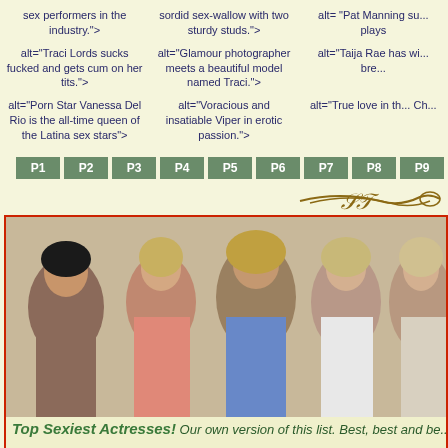sex performers in the industry.">
sordid sex-wallow with two sturdy studs.">
alt= "Pat Manning Su... plays"
alt="Traci Lords sucks fucked and gets cum on her tits.">
alt="Glamour photographer meets a beautiful model named Traci.">
alt="Taija Rae has wi... bre..."
alt="Porn Star Vanessa Del Rio is the all-time queen of the Latina sex stars">
alt="Voracious and insatiable Viper in erotic passion.">
alt="True love in th... Ch..."
[Figure (other): Pagination buttons P1 through P10]
[Figure (photo): Banner photo of five women - Top Sexiest Actresses]
Top Sexiest Actresses! Our own version of this list. Best, best and be...
Summer Cummings
Carolyn Monroe
Summer Rose
Alexis
Karen Summer
Moana Pozzi
Barbara Dare
Marilyn
Little Oral Angie
Angel Kelly
Danielle De...
Briti...